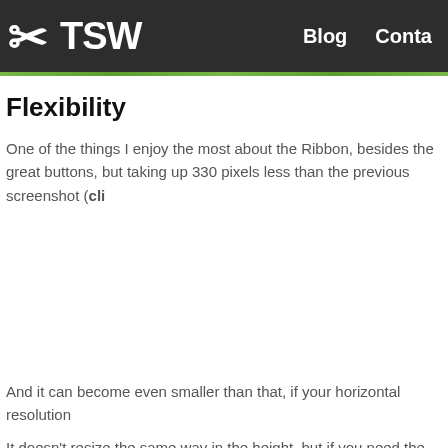TSW  Blog  Conta
Flexibility
One of the things I enjoy the most about the Ribbon, besides the great buttons, but taking up 330 pixels less than the previous screenshot (cli
[Figure (screenshot): Screenshot of a ribbon/toolbar interface element showing compact layout]
And it can become even smaller than that, if your horizontal resolution
It doesn't resize the same way in the height, but if you need the space screenshot. It will then look like this: